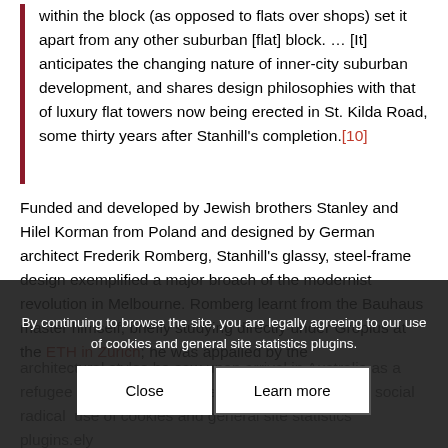within the block (as opposed to flats over shops) set it apart from any other suburban [flat] block. … [It] anticipates the changing nature of inner-city suburban development, and shares design philosophies with that of luxury flat towers now being erected in St. Kilda Road, some thirty years after Stanhill's completion.[10]
Funded and developed by Jewish brothers Stanley and Hilel Korman from Poland and designed by German architect Frederik Romberg, Stanhill's glassy, steel-frame design exemplified a major broach of the modernist revolution in Melbourne. Romberg learnt from the Bauhaus master himself, briefly studying directly under Gropius at the ETH in Zurich; he was appalled by the architectural styles he saw upon arrival in Australia as a refugee from Europe.[11] He was drawn also to the social radical use of cookies and general site statistics plugins.ely facilitated by th others. but Stanhill would end up being his la t famous work. A number of smaller flat buildings designed by Romberg are dotted
By continuing to browse the site, you are legally agreeing to our use of cookies and general site statistics plugins.